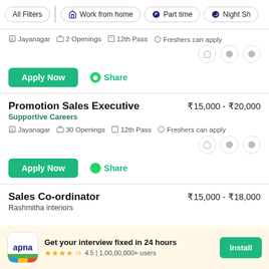All Filters | Work from home | Part time | Night Sh...
Jayanagar  2 Openings  12th Pass  Freshers can apply
Apply Now  Share
Promotion Sales Executive
Supportive Careers
₹15,000 - ₹20,000
Jayanagar  30 Openings  12th Pass  Freshers can apply
Apply Now  Share
Sales Co-ordinator
Rashmitha interiors
₹15,000 - ₹18,000
Get your interview fixed in 24 hours  4.5 | 1,00,00,000+ users  Install